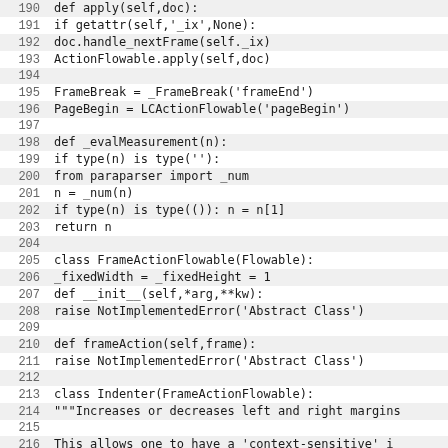[Figure (screenshot): Python source code listing showing lines 190-221, including methods apply, _evalMeasurement, class FrameActionFlowable, class Indenter with their definitions and docstrings.]